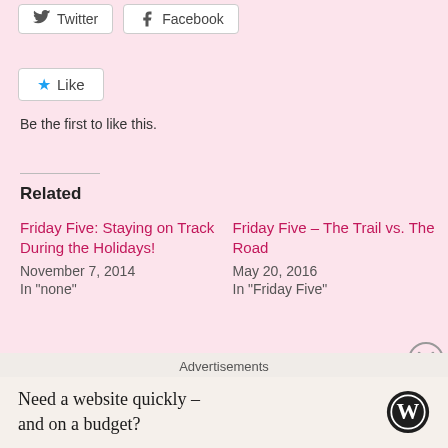Twitter
Facebook
Like
Be the first to like this.
Related
Friday Five: Staying on Track During the Holidays!
November 7, 2014
In "none"
Friday Five – The Trail vs. The Road
May 20, 2016
In "Friday Five"
What are You Running in 2015 – Friday Five
February 20, 2015
In "Friday Five"
Advertisements
Need a website quickly – and on a budget?